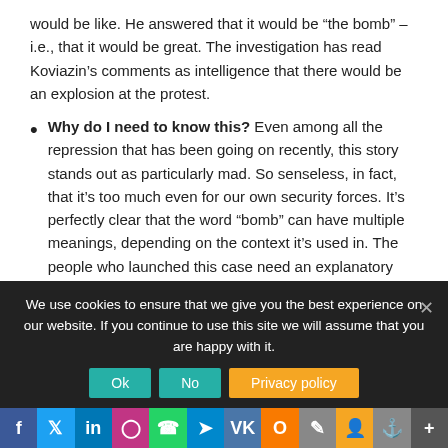would be like. He answered that it would be “the bomb” – i.e., that it would be great. The investigation has read Koviazin’s comments as intelligence that there would be an explosion at the protest.
Why do I need to know this? Even among all the repression that has been going on recently, this story stands out as particularly mad. So senseless, in fact, that it’s too much even for our own security forces. It’s perfectly clear that the word “bomb” can have multiple meanings, depending on the context it’s used in. The people who launched this case need an explanatory dictionary, and a conscience!
We use cookies to ensure that we give you the best experience on our website. If you continue to use this site we will assume that you are happy with it.